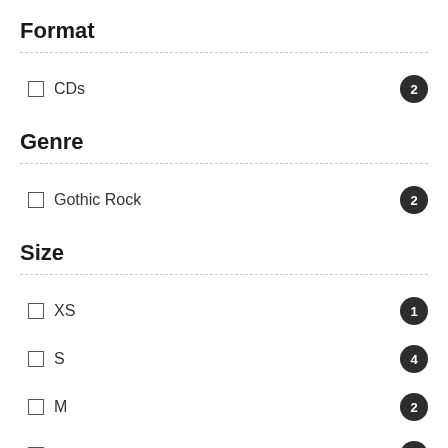Format
CDs  2
Genre
Gothic Rock  2
Size
XS  1
S  4
M  2
L  1